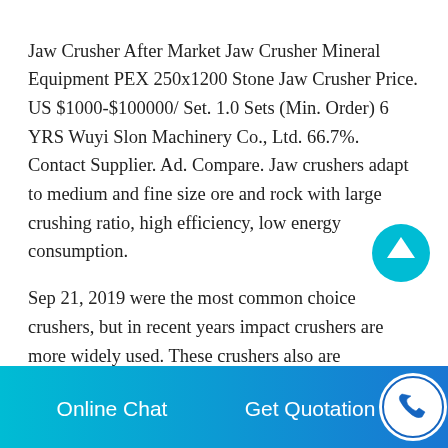Jaw Crusher After Market Jaw Crusher Mineral Equipment PEX 250x1200 Stone Jaw Crusher Price. US $1000-$100000/ Set. 1.0 Sets (Min. Order) 6 YRS Wuyi Slon Machinery Co., Ltd. 66.7%. Contact Supplier. Ad. Compare. Jaw crushers adapt to medium and fine size ore and rock with large crushing ratio, high efficiency, low energy consumption.
Sep 21, 2019 were the most common choice crushers, but in recent years impact crushers are more widely used. These crushers also are sometimes used as primary crushers for fine-grained gravel deposits. The cone crusher (a compression type) simply crushes the aggregate between the oscillating cone and
[Figure (other): Scroll-to-top circular button with upward arrow icon in cyan/teal color]
Online Chat   Get Quotation